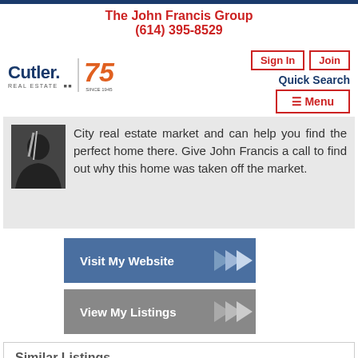The John Francis Group
(614) 395-8529
[Figure (logo): Cutler Real Estate logo with 75th anniversary badge]
Sign In
Join
Quick Search
☰ Menu
City real estate market and can help you find the perfect home there. Give John Francis a call to find out why this home was taken off the market.
Visit My Website
View My Listings
Similar Listings